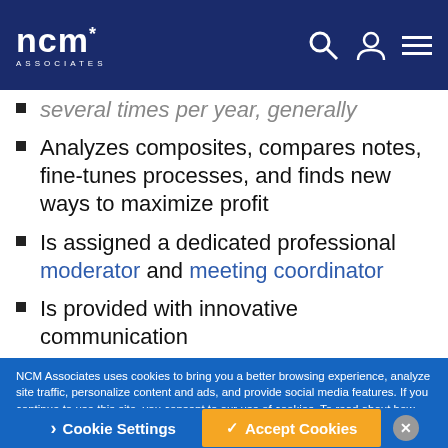[Figure (logo): NCM Associates logo — white bold 'ncm*' text with 'ASSOCIATES' subtitle on dark navy background, with search icon, user icon, and hamburger menu icons on the right]
several times per year, generally
Analyzes composites, compares notes, fine-tunes processes, and finds new ways to maximize profit
Is assigned a dedicated professional moderator and meeting coordinator
Is provided with innovative communication
NCM Associates uses cookies to bring you a better browsing experience, analyze site traffic, personalize content and ads, and provide social media features. If you continue to use this site, you consent to our use of cookies. To read about how we use cookies and how you can control them, click “Cookie Settings.” View our cookie policy.